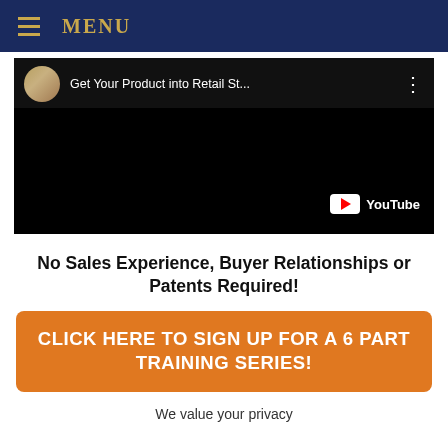MENU
[Figure (screenshot): YouTube video thumbnail showing 'Get Your Product into Retail St...' with a woman presenter avatar and YouTube logo on black background]
No Sales Experience, Buyer Relationships or Patents Required!
CLICK HERE TO SIGN UP FOR A 6 PART TRAINING SERIES!
We value your privacy